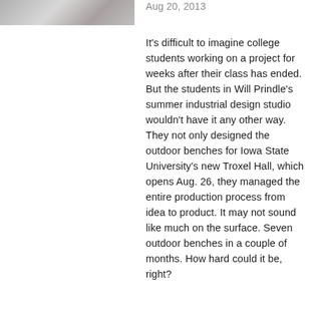[Figure (photo): Partial photo of outdoor bench or related construction/design work, cropped at top of page]
Aug 20, 2013
It's difficult to imagine college students working on a project for weeks after their class has ended. But the students in Will Prindle's summer industrial design studio wouldn't have it any other way. They not only designed the outdoor benches for Iowa State University's new Troxel Hall, which opens Aug. 26, they managed the entire production process from idea to product. It may not sound like much on the surface. Seven outdoor benches in a couple of months. How hard could it be, right?